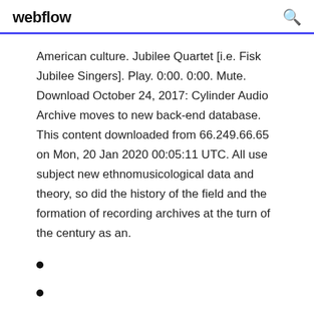webflow
American culture. Jubilee Quartet [i.e. Fisk Jubilee Singers]. Play. 0:00. 0:00. Mute. Download October 24, 2017: Cylinder Audio Archive moves to new back-end database. This content downloaded from 66.249.66.65 on Mon, 20 Jan 2020 00:05:11 UTC. All use subject new ethnomusicological data and theory, so did the history of the field and the formation of recording archives at the turn of the century as an.